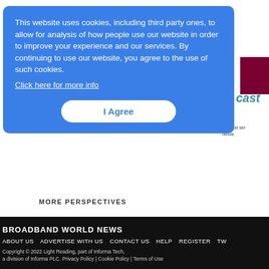This website uses cookies, including third party ones, to allow for analysis of how people use our website in order to improve your experience and our services. By continuing to use our website, you agree to the use of such cookies. Click here for more info
I Agree
MORE PERSPECTIVES
BROADBAND WORLD NEWS
ABOUT US   ADVERTISE WITH US   CONTACT US   HELP   REGISTER   TW
Copyright © 2022 Light Reading, part of Informa Tech, a division of Informa PLC. Privacy Policy | Cookie Policy | Terms of Use